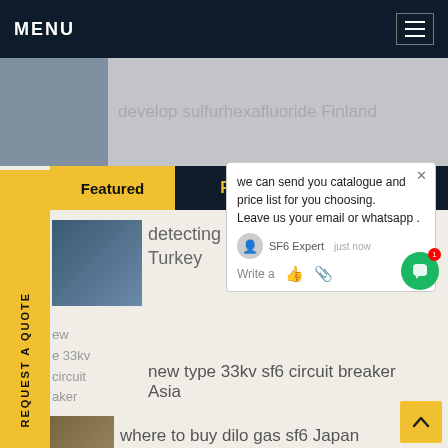MENU
develop sulfurhexafluoride Finland
Featured
Popular
we can send you catalogue and price list for you choosing.
Leave us your email or whatsapp .
SF6 Expert   just now
Write a
detecting sulphur hexaf... Turkey
new type 33kv sf6 circuit breaker Asia
where to buy dilo gas sf6 Japan
REQUEST A QUOTE